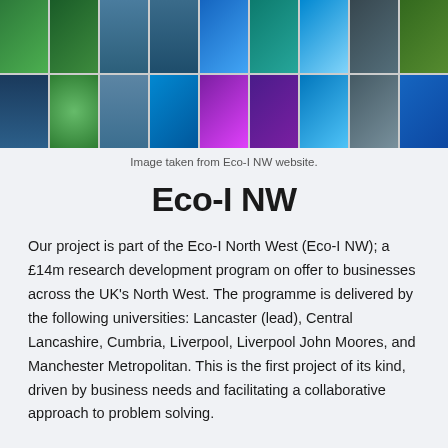[Figure (photo): A collage of 18 environmental and science-related images arranged in a 9x2 grid, showing nature, workers in high-vis, water, laboratory experiments, technology, solar panels, and green leaves.]
Image taken from Eco-I NW website.
Eco-I NW
Our project is part of the Eco-I North West (Eco-I NW); a £14m research development program on offer to businesses across the UK's North West. The programme is delivered by the following universities: Lancaster (lead), Central Lancashire, Cumbria, Liverpool, Liverpool John Moores, and Manchester Metropolitan. This is the first project of its kind, driven by business needs and facilitating a collaborative approach to problem solving.